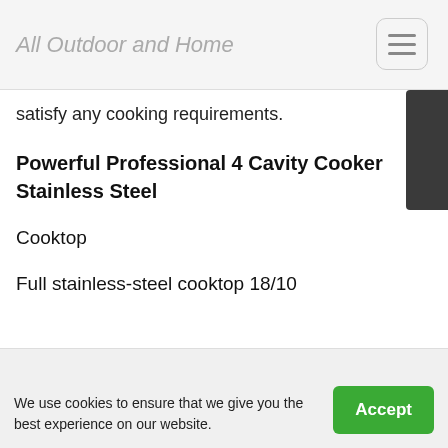All Outdoor and Home
satisfy any cooking requirements.
Powerful Professional 4 Cavity Cooker Stainless Steel
Cooktop
Full stainless-steel cooktop 18/10
6 gas burners
(2 triple ring wok burners + 2 Dual burners)
Cast iron pan supports (4)
We use cookies to ensure that we give you the best experience on our website.